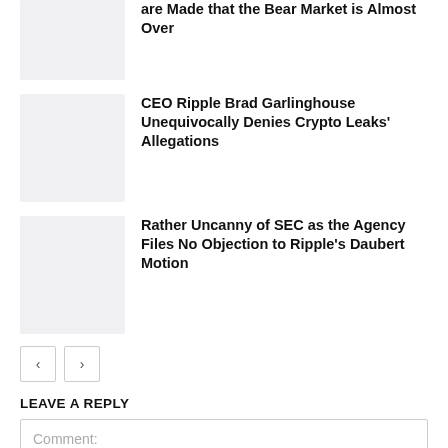are Made that the Bear Market is Almost Over
[Figure (photo): Thumbnail image placeholder for first article]
CEO Ripple Brad Garlinghouse Unequivocally Denies Crypto Leaks' Allegations
[Figure (photo): Thumbnail image placeholder for second article]
Rather Uncanny of SEC as the Agency Files No Objection to Ripple's Daubert Motion
[Figure (photo): Thumbnail image placeholder for third article]
< >
LEAVE A REPLY
Comment: